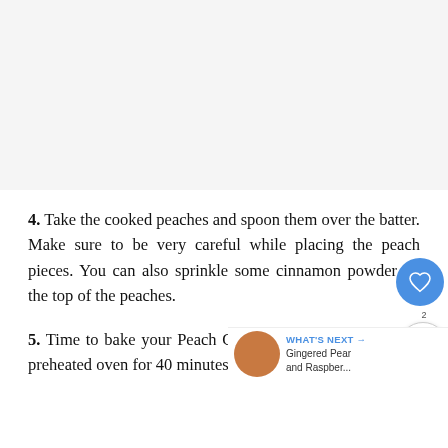[Figure (photo): Blank/light gray area at top of page representing an image placeholder or partially loaded photo]
4. Take the cooked peaches and spoon them over the batter. Make sure to be very careful while placing the peach pieces. You can also sprinkle some cinnamon powder on the top of the peaches.
5. Time to bake your Peach Cobbler. Put the batter in the preheated oven for 40 minutes at 350...